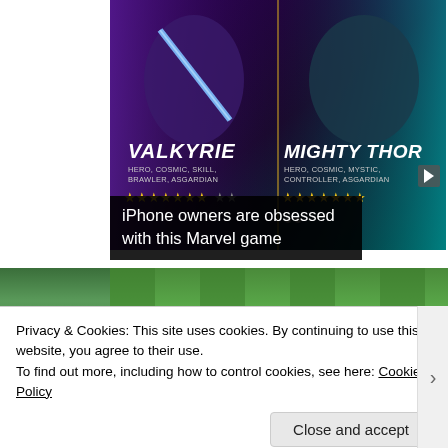[Figure (screenshot): Marvel game advertisement showing Valkyrie and Mighty Thor characters with star ratings. Valkyrie labeled HERO, COSMIC, SKILL, BRAWLER, ASGARDIAN with yellow stars. Mighty Thor labeled HERO, COSMIC, MYSTIC, CONTROLLER, ASGARDIAN with yellow stars.]
iPhone owners are obsessed with this Marvel game
[Figure (photo): Partial view of a green sports field/football pitch]
Privacy & Cookies: This site uses cookies. By continuing to use this website, you agree to their use.
To find out more, including how to control cookies, see here: Cookie Policy
Close and accept